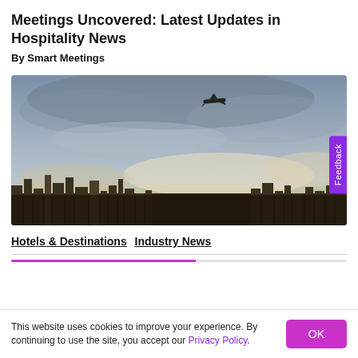Meetings Uncovered: Latest Updates in Hospitality News
By Smart Meetings
[Figure (photo): Aerial cityscape photo at dusk with an airplane flying overhead and city skyline with golden sky and clouds in the background]
Hotels & Destinations  Industry News
This website uses cookies to improve your experience. By continuing to use the site, you accept our Privacy Policy.